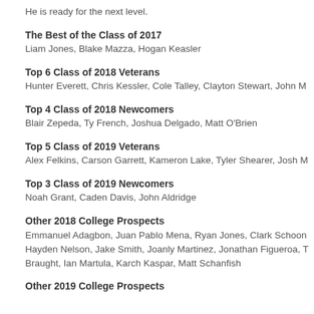He is ready for the next level.
The Best of the Class of 2017
Liam Jones, Blake Mazza, Hogan Keasler
Top 6 Class of 2018 Veterans
Hunter Everett, Chris Kessler, Cole Talley, Clayton Stewart, John M…
Top 4 Class of 2018 Newcomers
Blair Zepeda, Ty French, Joshua Delgado, Matt O'Brien
Top 5 Class of 2019 Veterans
Alex Felkins, Carson Garrett, Kameron Lake, Tyler Shearer, Josh M…
Top 3 Class of 2019 Newcomers
Noah Grant, Caden Davis, John Aldridge
Other 2018 College Prospects
Emmanuel Adagbon, Juan Pablo Mena, Ryan Jones, Clark Schoon…
Hayden Nelson, Jake Smith, Joanly Martinez, Jonathan Figueroa, T…
Braught, Ian Martula, Karch Kaspar, Matt Schanfish
Other 2019 College Prospects